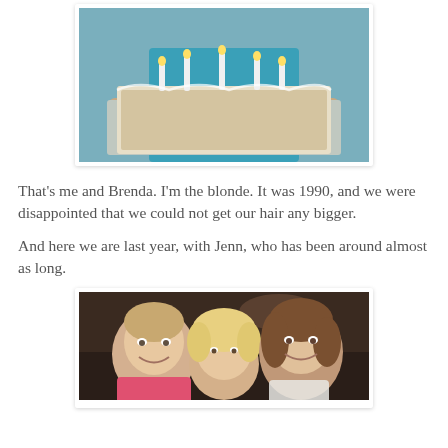[Figure (photo): A person in a teal/turquoise shirt holding a rectangular birthday cake with candles on a foil-covered tray, old photograph from around 1990.]
That's me and Brenda. I'm the blonde. It was 1990, and we were disappointed that we could not get our hair any bigger.
And here we are last year, with Jenn, who has been around almost as long.
[Figure (photo): Three women smiling at the camera in what appears to be a restaurant or bar setting. The woman on the left wears a pink top, and there is a woman with curly/wavy hair in the middle, and a woman with brown hair on the right.]